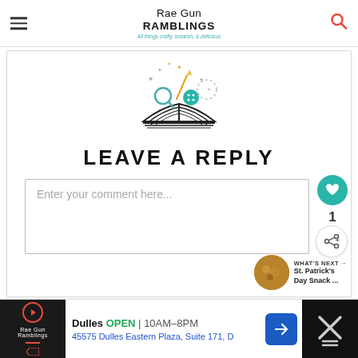Rae Gun Ramblings — All things crafty, bookish, & delicious
[Figure (logo): Rae Gun Ramblings logo: open book with crafting icons (button, wand, magnifying glass, sparkles) floating above]
LEAVE A REPLY
Enter your comment here...
WHAT'S NEXT → St. Patrick's Day Snack ...
[Figure (infographic): Advertisement bar: Dulles OPEN 10AM-8PM, 45575 Dulles Eastern Plaza, Suite 171, D]